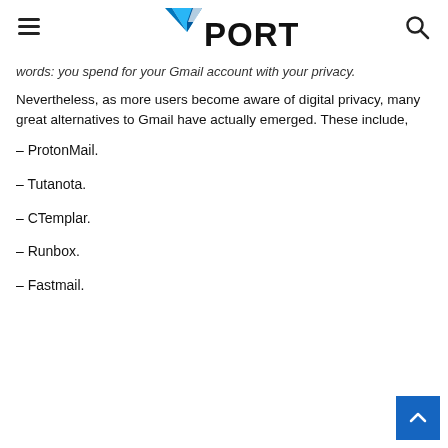YPortal (logo with hamburger menu and search icon)
words: you spend for your Gmail account with your privacy.
Nevertheless, as more users become aware of digital privacy, many great alternatives to Gmail have actually emerged. These include,
– ProtonMail.
– Tutanota.
– CTemplar.
– Runbox.
– Fastmail.